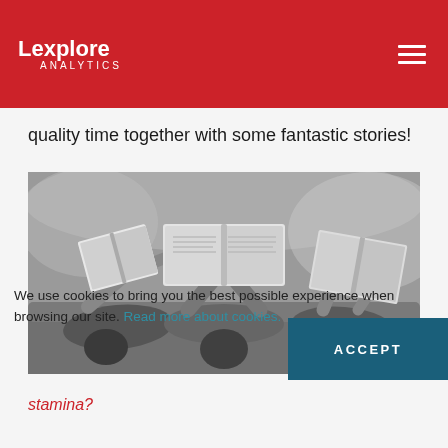Lexplore ANALYTICS
quality time together with some fantastic stories!
[Figure (photo): Black and white photo of several children lying on grass reading books held above their faces]
We use cookies to bring you the best possible experience when browsing our site. Read more about cookies.
ACCEPT
stamina?